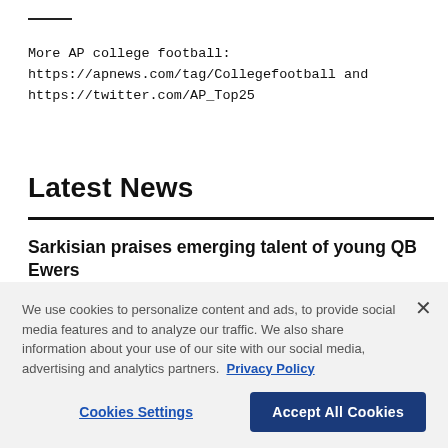More AP college football: https://apnews.com/tag/Collegefootball and https://twitter.com/AP_Top25
Latest News
Sarkisian praises emerging talent of young QB Ewers
By Jim Vertuno
We use cookies to personalize content and ads, to provide social media features and to analyze our traffic. We also share information about your use of our site with our social media, advertising and analytics partners. Privacy Policy
Cookies Settings | Accept All Cookies